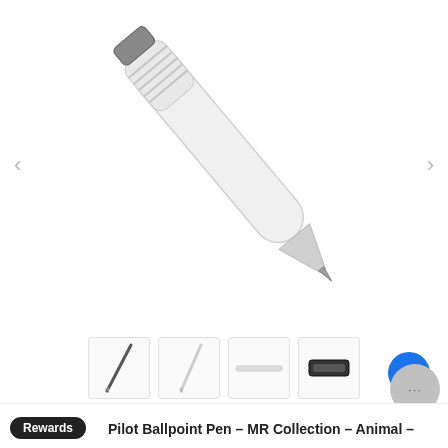[Figure (photo): A white Pilot ballpoint pen from the MR Collection - Animal series, shown diagonally pointing downward-left against a white background. The pen has a clear/white barrel with a striped grip section and a silver metal tip.]
[Figure (photo): Thumbnail images showing different views or variants of the pen: a dark pen tip, a lighter pen, a horizontal pen view, and a black pen clip/accessory.]
Rewards
Pilot Ballpoint Pen - MR Collection - Animal -